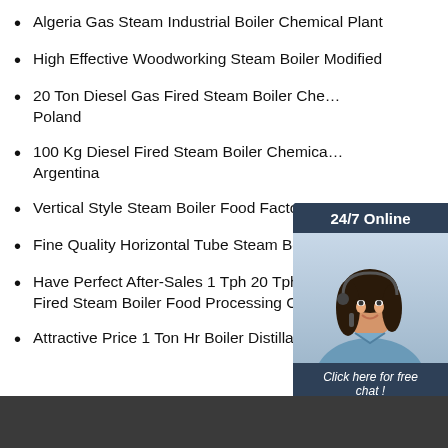Algeria Gas Steam Industrial Boiler Chemical Plant
High Effective Woodworking Steam Boiler Modified
20 Ton Diesel Gas Fired Steam Boiler Chemical Plant Poland
100 Kg Diesel Fired Steam Boiler Chemical Plant Argentina
Vertical Style Steam Boiler Food Factory P…
Fine Quality Horizontal Tube Steam Boiler…
Have Perfect After-Sales 1 Tph 20 Tph Diesel Gas Fired Steam Boiler Food Processing Chemical…
Attractive Price 1 Ton Hr Boiler Distillation
[Figure (photo): Customer service representative wearing headset, with 24/7 Online chat widget overlay and QUOTATION button]